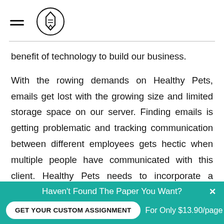[hamburger menu icon] [logo icon]
benefit of technology to build our business.
With the rowing demands on Healthy Pets, emails get lost with the growing size and limited storage space on our server. Finding emails is getting problematic and tracking communication between different employees gets hectic when multiple people have communicated with this client. Healthy Pets needs to incorporate a program that allows us to measure our success or failures. . Metrics is important in growing our business. We chose to not waste
Haven't Found The Paper You Want?
GET YOUR CUSTOM ASSIGNMENT
For Only $13.90/page